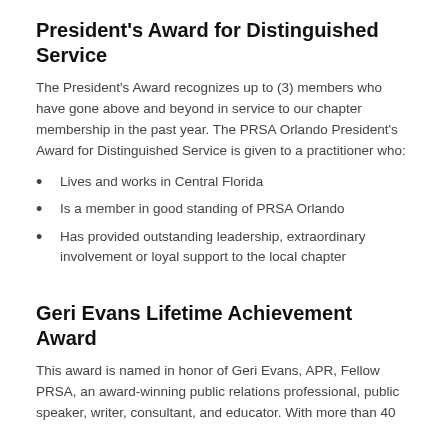President's Award for Distinguished Service
The President's Award recognizes up to (3) members who have gone above and beyond in service to our chapter membership in the past year. The PRSA Orlando President's Award for Distinguished Service is given to a practitioner who:
Lives and works in Central Florida
Is a member in good standing of PRSA Orlando
Has provided outstanding leadership, extraordinary involvement or loyal support to the local chapter
Geri Evans Lifetime Achievement Award
This award is named in honor of Geri Evans, APR, Fellow PRSA, an award-winning public relations professional, public speaker, writer, consultant, and educator. With more than 40